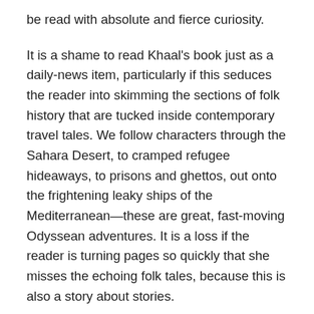be read with absolute and fierce curiosity.
It is a shame to read Khaal's book just as a daily-news item, particularly if this seduces the reader into skimming the sections of folk history that are tucked inside contemporary travel tales. We follow characters through the Sahara Desert, to cramped refugee hideaways, to prisons and ghettos, out onto the frightening leaky ships of the Mediterranean—these are great, fast-moving Odyssean adventures. It is a loss if the reader is turning pages so quickly that she misses the echoing folk tales, because this is also a story about stories.
However, it is equally wrong to read Khaal's book only for its aesthetic value—which is just as possible. The novel is a lovely piece of craftsmanship, particularly the fast-forwards that show us glimpses of the future amidst our grim adventure tale. We could read it just to see how the book was built, to see how Khaal created these effects.